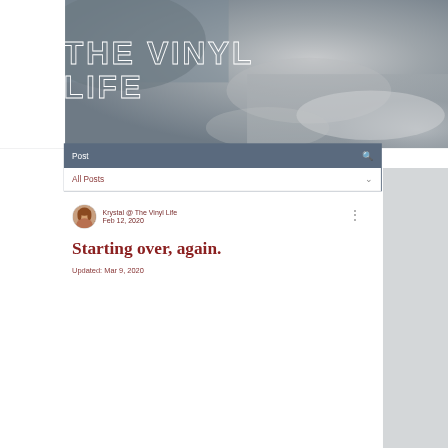[Figure (photo): Stormy dark sky background filling the header area of a blog website]
THE VINYL LIFE
Post
All Posts
Krystal @ The Vinyl Life
Feb 12, 2020
Starting over, again.
Updated: Mar 9, 2020